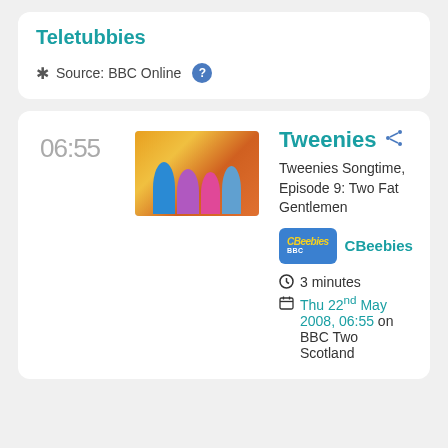Teletubbies
Source: BBC Online
06:55
[Figure (photo): Photo of Tweenies puppet characters standing together in colourful costumes]
Tweenies
Tweenies Songtime, Episode 9: Two Fat Gentlemen
CBeebies
3 minutes
Thu 22nd May 2008, 06:55 on BBC Two Scotland